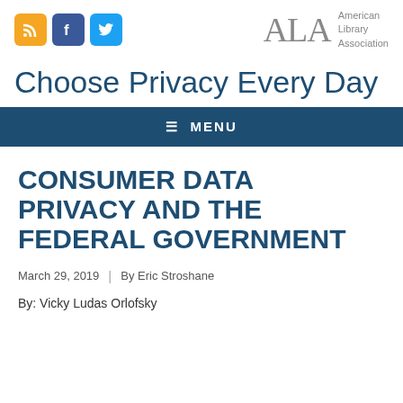[Figure (logo): ALA - American Library Association logo with social media icons (RSS, Facebook, Twitter)]
Choose Privacy Every Day
≡ MENU
CONSUMER DATA PRIVACY AND THE FEDERAL GOVERNMENT
March 29, 2019 | By Eric Stroshane
By: Vicky Ludas Orlofsky